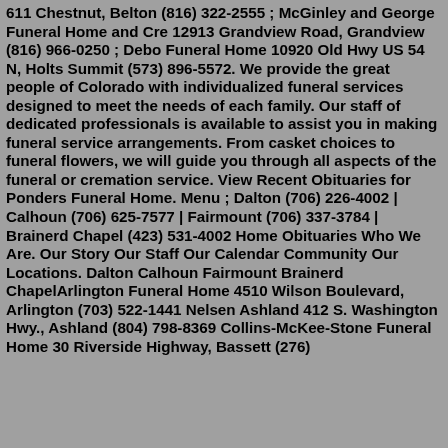611 Chestnut, Belton (816) 322-2555 ; McGinley and George Funeral Home and Cre 12913 Grandview Road, Grandview (816) 966-0250 ; Debo Funeral Home 10920 Old Hwy US 54 N, Holts Summit (573) 896-5572. We provide the great people of Colorado with individualized funeral services designed to meet the needs of each family. Our staff of dedicated professionals is available to assist you in making funeral service arrangements. From casket choices to funeral flowers, we will guide you through all aspects of the funeral or cremation service. View Recent Obituaries for Ponders Funeral Home. Menu ; Dalton (706) 226-4002 | Calhoun (706) 625-7577 | Fairmount (706) 337-3784 | Brainerd Chapel (423) 531-4002 Home Obituaries Who We Are. Our Story Our Staff Our Calendar Community Our Locations. Dalton Calhoun Fairmount Brainerd ChapelArlington Funeral Home 4510 Wilson Boulevard, Arlington (703) 522-1441 Nelsen Ashland 412 S. Washington Hwy., Ashland (804) 798-8369 Collins-McKee-Stone Funeral Home 30 Riverside Highway, Bassett (276)